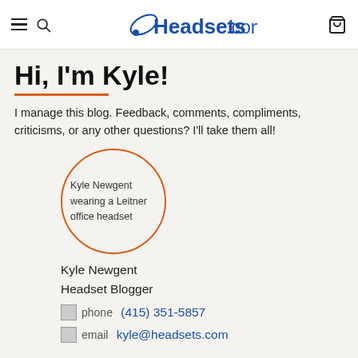Headsets.com
Hi, I'm Kyle!
I manage this blog. Feedback, comments, compliments, criticisms, or any other questions? I'll take them all!
[Figure (photo): Circular portrait photo of Kyle Newgent wearing a Leitner office headset, framed with an orange circle border. Alt text visible: Kyle Newgent wearing a Leitner office headset]
Kyle Newgent
Headset Blogger
(415) 351-5857
kyle@headsets.com